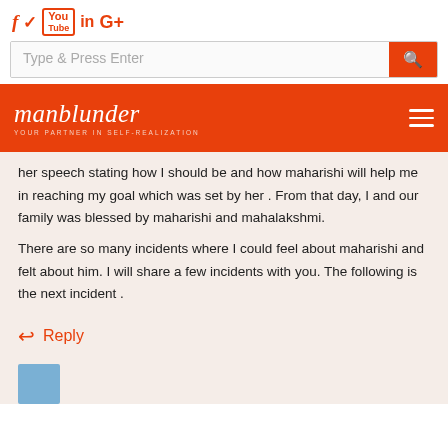f  ✓  ▶ in G+
Type & Press Enter  [search]
manblunder — YOUR PARTNER IN SELF-REALIZATION
her speech stating how I should be and how maharishi will help me in reaching my goal which was set by her . From that day, I and our family was blessed by maharishi and mahalakshmi.
There are so many incidents where I could feel about maharishi and felt about him. I will share a few incidents with you. The following is the next incident .
Reply